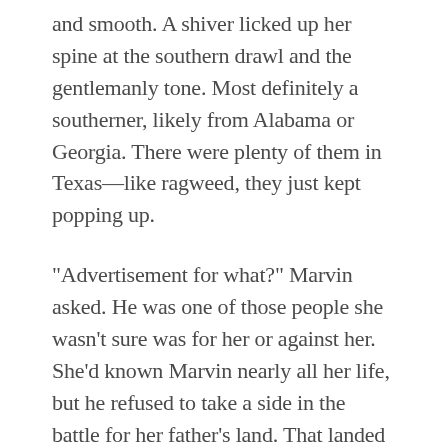and smooth. A shiver licked up her spine at the southern drawl and the gentlemanly tone. Most definitely a southerner, likely from Alabama or Georgia. There were plenty of them in Texas—like ragweed, they just kept popping up.
“Advertisement for what?” Marvin asked. He was one of those people she wasn’t sure was for her or against her. She’d known Marvin nearly all her life, but he refused to take a side in the battle for her father’s land. That landed him square in her suspicious group of folks.
Elisa walked toward the shelf of canned peaches to peek through at the two men. The stranger